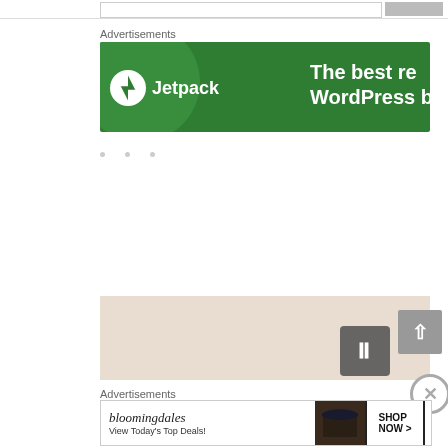Advertisements
[Figure (screenshot): Jetpack advertisement banner on green background with Jetpack logo and text 'The best re... WordPress ba...']
[Figure (screenshot): Beige/tan colored advertisement banner with a pause button overlay]
Advertisements
[Figure (screenshot): Bloomingdale's advertisement with logo, 'View Today's Top Deals!' text, woman in hat, and 'SHOP NOW >' button]